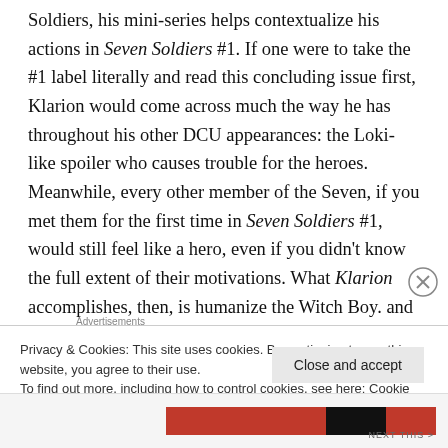Soldiers, his mini-series helps contextualize his actions in Seven Soldiers #1. If one were to take the #1 label literally and read this concluding issue first, Klarion would come across much the way he has throughout his other DCU appearances: the Loki-like spoiler who causes trouble for the heroes. Meanwhile, every other member of the Seven, if you met them for the first time in Seven Soldiers #1, would still feel like a hero, even if you didn't know the full extent of their motivations. What Klarion accomplishes, then, is humanize the Witch Boy. and help explain why he is the dastardly way he is.
Privacy & Cookies: This site uses cookies. By continuing to use this website, you agree to their use.
To find out more, including how to control cookies, see here: Cookie Policy
Close and accept